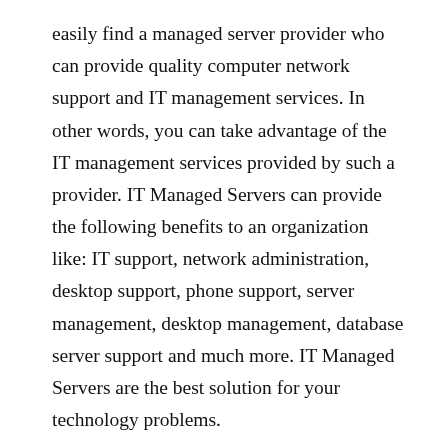easily find a managed server provider who can provide quality computer network support and IT management services. In other words, you can take advantage of the IT management services provided by such a provider. IT Managed Servers can provide the following benefits to an organization like: IT support, network administration, desktop support, phone support, server management, desktop management, database server support and much more. IT Managed Servers are the best solution for your technology problems.
Disaster recovery is one of the benefits provided by IT Managed Servers. It is also known as managed or network security. The disaster recovery feature provides the following benefits to a business enterprise by way of